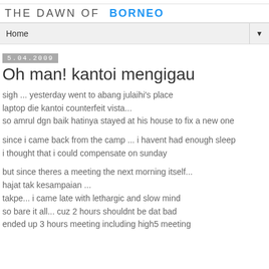THE DAWN OF BORNEO
Home
5.04.2009
Oh man! kantoi mengigau
sigh ... yesterday went to abang julaihi's place
laptop die kantoi counterfeit vista...
so amrul dgn baik hatinya stayed at his house to fix a new one
since i came back from the camp ... i havent had enough sleep
i thought that i could compensate on sunday
but since theres a meeting the next morning itself...
hajat tak kesampaian ...
takpe... i came late with lethargic and slow mind
so bare it all... cuz 2 hours shouldnt be dat bad
ended up 3 hours meeting including high5 meeting